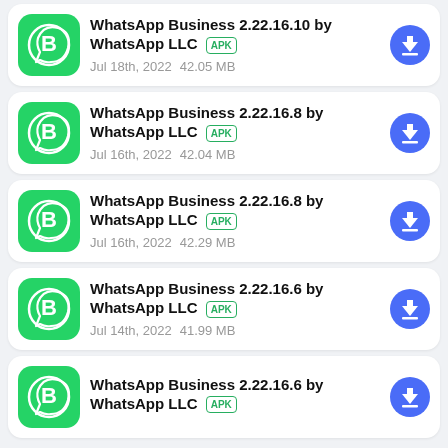WhatsApp Business 2.22.16.10 by WhatsApp LLC APK  Jul 18th, 2022  42.05 MB
WhatsApp Business 2.22.16.8 by WhatsApp LLC APK  Jul 16th, 2022  42.04 MB
WhatsApp Business 2.22.16.8 by WhatsApp LLC APK  Jul 16th, 2022  42.29 MB
WhatsApp Business 2.22.16.6 by WhatsApp LLC APK  Jul 14th, 2022  41.99 MB
WhatsApp Business 2.22.16.6 by WhatsApp LLC APK